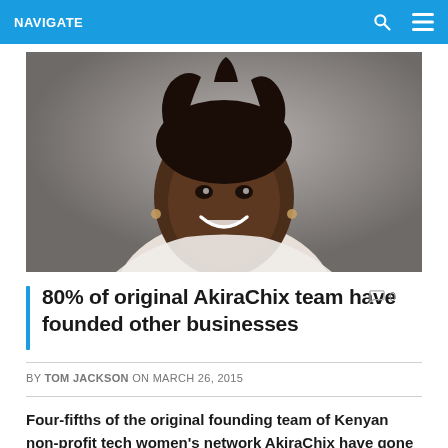NAVIGATE
[Figure (photo): Portrait photo of a smiling Black woman with braided hair, wearing a white top, against a grey studio background.]
80% of original AkiraChix team have founded other businesses
BY TOM JACKSON ON MARCH 26, 2015
Four-fifths of the original founding team of Kenyan non-profit tech women's network AkiraChix have gone